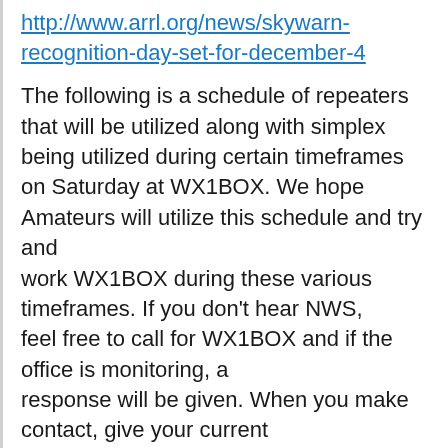http://www.arrl.org/news/skywarn-recognition-day-set-for-december-4
The following is a schedule of repeaters that will be utilized along with simplex being utilized during certain timeframes on Saturday at WX1BOX. We hope Amateurs will utilize this schedule and try and work WX1BOX during these various timeframes. If you don't hear NWS, feel free to call for WX1BOX and if the office is monitoring, a response will be given. When you make contact, give your current sky condition and temperature as required. Below is the tentative schedule of operations:
Friday December 3rd, 2010: